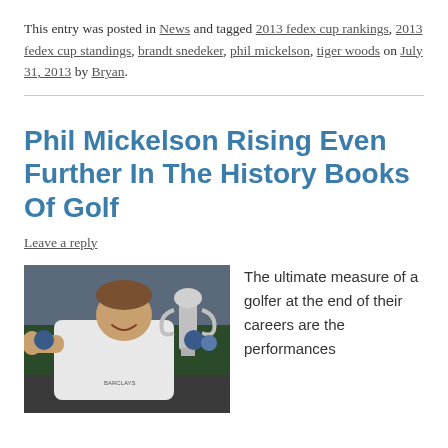This entry was posted in News and tagged 2013 fedex cup rankings, 2013 fedex cup standings, brandt snedeker, phil mickelson, tiger woods on July 31, 2013 by Bryan.
Phil Mickelson Rising Even Further In The History Books Of Golf
Leave a reply
[Figure (photo): Phil Mickelson giving a thumbs up while holding the Claret Jug (The Open Championship trophy), wearing a white Barclays-branded shirt, with crowd visible in the background.]
The ultimate measure of a golfer at the end of their careers are the performances